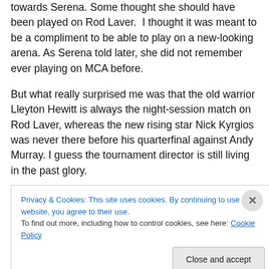towards Serena. Some thought she should have been played on Rod Laver.  I thought it was meant to be a compliment to be able to play on a new-looking arena. As Serena told later, she did not remember ever playing on MCA before.
But what really surprised me was that the old warrior Lleyton Hewitt is always the night-session match on Rod Laver, whereas the new rising star Nick Kyrgios was never there before his quarterfinal against Andy Murray. I guess the tournament director is still living in the past glory.
Hewitt along with Serena the Str... (partially visible, cut off)
Privacy & Cookies: This site uses cookies. By continuing to use this website, you agree to their use.
To find out more, including how to control cookies, see here: Cookie Policy